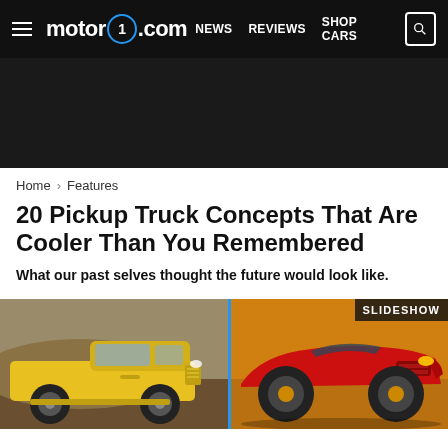motor1.com  NEWS  REVIEWS  SHOP CARS
[Figure (photo): Dark advertisement banner placeholder]
Home > Features
20 Pickup Truck Concepts That Are Cooler Than You Remembered
What our past selves thought the future would look like.
[Figure (photo): Left: yellow pickup truck concept parked outdoors on dirt/gravel background. Right: red futuristic pickup truck concept on orange background with SLIDESHOW badge.]